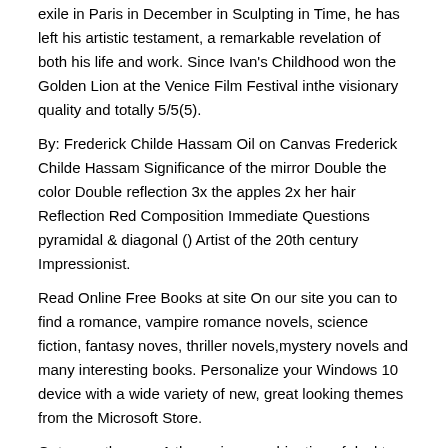exile in Paris in December in Sculpting in Time, he has left his artistic testament, a remarkable revelation of both his life and work. Since Ivan's Childhood won the Golden Lion at the Venice Film Festival inthe visionary quality and totally 5/5(5).
By: Frederick Childe Hassam Oil on Canvas Frederick Childe Hassam Significance of the mirror Double the color Double reflection 3x the apples 2x her hair Reflection Red Composition Immediate Questions pyramidal & diagonal () Artist of the 20th century Impressionist.
Read Online Free Books at site On our site you can to find a romance, vampire romance novels, science fiction, fantasy noves, thriller novels,mystery novels and many interesting books. Personalize your Windows 10 device with a wide variety of new, great looking themes from the Microsoft Store.
Get more themes. A theme is a combination of desktop background pictures, window colors, and sounds. To get a theme, expand one of the categories, click a link for the theme, and click Open.
This saves the theme to your PC and puts it. Get the best deals on